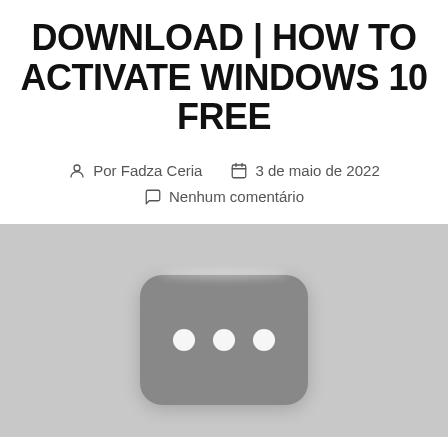DOWNLOAD | HOW TO ACTIVATE WINDOWS 10 FREE
Por Fadza Ceria   3 de maio de 2022   Nenhum comentário
[Figure (illustration): A blurred/loading image placeholder with a dark rounded rectangle containing three white dots on a light gray background]